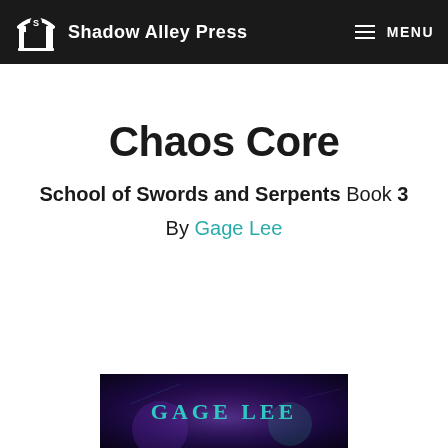Shadow Alley Press  MENU
Chaos Core
School of Swords and Serpents Book 3
By Gage Lee
[Figure (illustration): Bottom portion of a book cover showing the text GAGE LEE in teal/aqua letters on a dark fantasy background with purple tones]